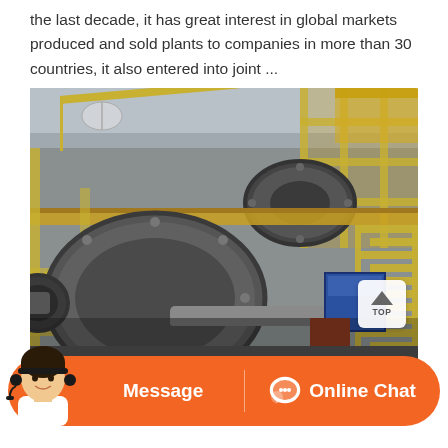the last decade, it has great interest in global markets produced and sold plants to companies in more than 30 countries, it also entered into joint ...
[Figure (photo): Industrial ball mill grinding equipment inside a factory or processing plant. Large cylindrical rotating drum in foreground, yellow scaffolding and walkways, a second smaller drum visible in background, stairs on the right side, blue machinery box visible on the right.]
Message
Online Chat